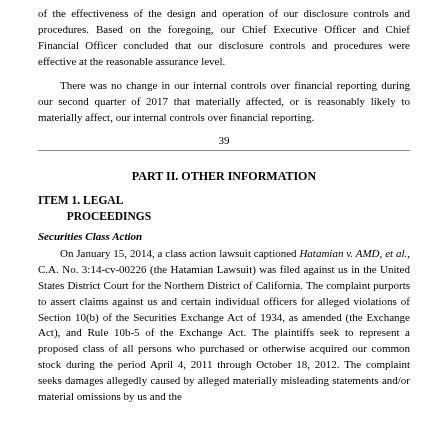of the effectiveness of the design and operation of our disclosure controls and procedures. Based on the foregoing, our Chief Executive Officer and Chief Financial Officer concluded that our disclosure controls and procedures were effective at the reasonable assurance level.
There was no change in our internal controls over financial reporting during our second quarter of 2017 that materially affected, or is reasonably likely to materially affect, our internal controls over financial reporting.
39
PART II. OTHER INFORMATION
ITEM 1. LEGAL PROCEEDINGS
Securities Class Action
On January 15, 2014, a class action lawsuit captioned Hatamian v. AMD, et al., C.A. No. 3:14-cv-00226 (the Hatamian Lawsuit) was filed against us in the United States District Court for the Northern District of California. The complaint purports to assert claims against us and certain individual officers for alleged violations of Section 10(b) of the Securities Exchange Act of 1934, as amended (the Exchange Act), and Rule 10b-5 of the Exchange Act. The plaintiffs seek to represent a proposed class of all persons who purchased or otherwise acquired our common stock during the period April 4, 2011 through October 18, 2012. The complaint seeks damages allegedly caused by alleged materially misleading statements and/or material omissions by us and the